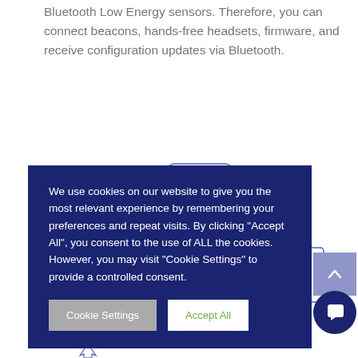The FMC0004 AVL-IoT Vehicle tracker supports various Bluetooth Low Energy sensors. Therefore, you can connect beacons, hands-free headsets, firmware, and receive configuration updates via Bluetooth.
[Figure (schematic): Vehicle tracker connectivity diagram showing device connections including internal backup battery and various peripheral components]
We use cookies on our website to give you the most relevant experience by remembering your preferences and repeat visits. By clicking "Accept All", you consent to the use of ALL the cookies. However, you may visit "Cookie Settings" to provide a controlled consent.